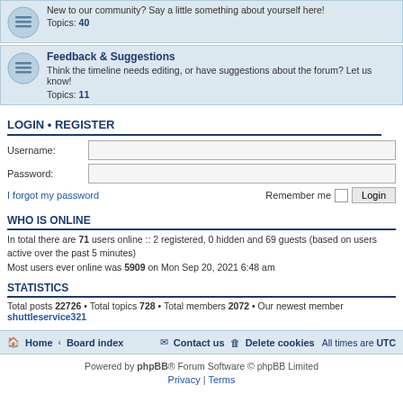New to our community? Say a little something about yourself here! Topics: 40
Feedback & Suggestions
Think the timeline needs editing, or have suggestions about the forum? Let us know! Topics: 11
LOGIN • REGISTER
Username:
Password:
I forgot my password   Remember me   Login
WHO IS ONLINE
In total there are 71 users online :: 2 registered, 0 hidden and 69 guests (based on users active over the past 5 minutes)
Most users ever online was 5909 on Mon Sep 20, 2021 6:48 am
STATISTICS
Total posts 22726 • Total topics 728 • Total members 2072 • Our newest member shuttleservice321
Home · Board index   Contact us   Delete cookies   All times are UTC
Powered by phpBB® Forum Software © phpBB Limited
Privacy | Terms